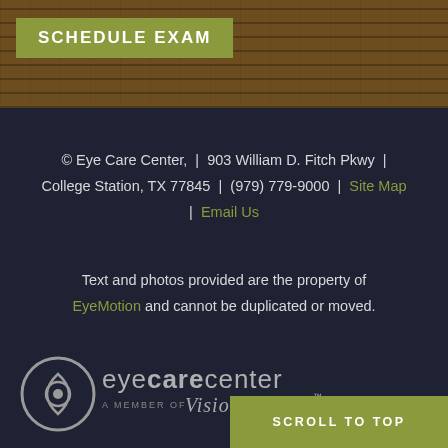[Figure (photo): Wooden plank texture background banner at top of page]
SCHEDULE EXAM
© Eye Care Center, | 903 William D. Fitch Pkwy | College Station, TX 77845 | (979) 779-9000 | Site Map | Email Us
Text and photos provided are the property of EyeMotion and cannot be duplicated or moved.
[Figure (logo): Eye Care Center logo with circular eye icon and Vision Source member badge]
SCROLL TO TOP